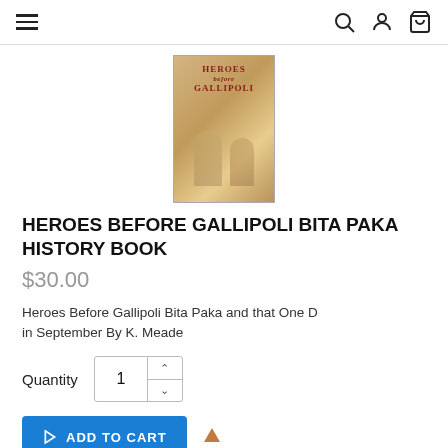Navigation bar with hamburger menu, search, account, cart icons
[Figure (photo): Book cover of Heroes Before Gallipoli Bita Paka, showing two soldiers on a brown/tan background with red title text]
HEROES BEFORE GALLIPOLI BITA PAKA HISTORY BOOK
$30.00
Heroes Before Gallipoli Bita Paka and that One D in September By K. Meade
Quantity  1
ADD TO CART